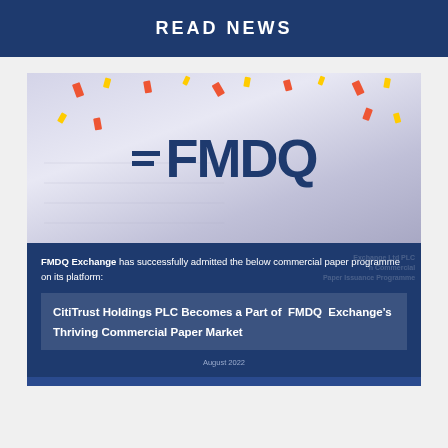READ NEWS
[Figure (photo): FMDQ Exchange logo with confetti background, and a dark blue lower section showing text about commercial paper programme admission and CitiTrust Holdings PLC news article thumbnail]
FMDQ Exchange has successfully admitted the below commercial paper programme on its platform:
CitiTrust Holdings PLC Becomes a Part of FMDQ Exchange’s Thriving Commercial Paper Market
August 2022